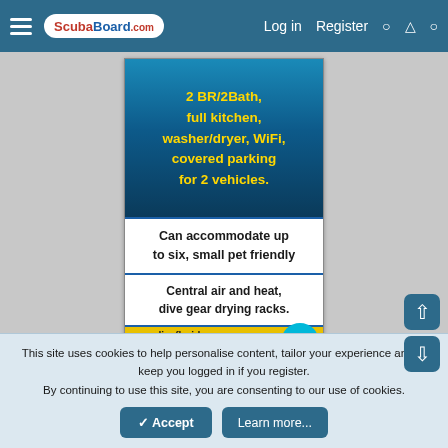ScubaBoard.com - Log in  Register
[Figure (photo): Advertisement banner for cave dive Florida rental property. Shows underwater blue themed background with text: '2 BR/2Bath, full kitchen, washer/dryer, WiFi, covered parking for 2 vehicles.' followed by 'Can accommodate up to six, small pet friendly', then 'Central air and heat, dive gear drying racks.', URL 'cavediveflorida.com', 'MORE INFO' button, 'Call Jim at 352-363-0013']
< DIR
This site uses cookies to help personalise content, tailor your experience and to keep you logged in if you register.
By continuing to use this site, you are consenting to our use of cookies.
Accept  Learn more...